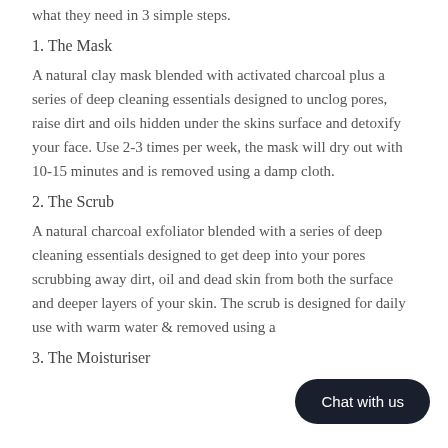what they need in 3 simple steps.
1. The Mask
A natural clay mask blended with activated charcoal plus a series of deep cleaning essentials designed to unclog pores, raise dirt and oils hidden under the skins surface and detoxify your face. Use 2-3 times per week, the mask will dry out with 10-15 minutes and is removed using a damp cloth.
2. The Scrub
A natural charcoal exfoliator blended with a series of deep cleaning essentials designed to get deep into your pores scrubbing away dirt, oil and dead skin from both the surface and deeper layers of your skin. The scrub is designed for daily use with warm water & removed using a...
3. The Moisturiser